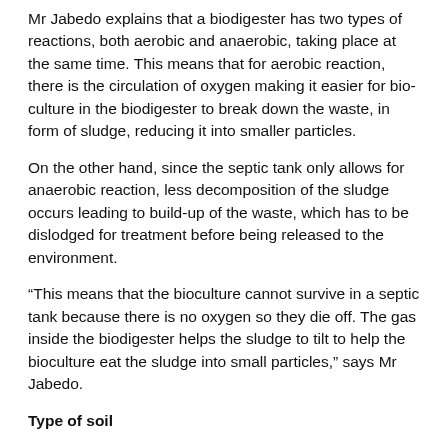Mr Jabedo explains that a biodigester has two types of reactions, both aerobic and anaerobic, taking place at the same time. This means that for aerobic reaction, there is the circulation of oxygen making it easier for bio-culture in the biodigester to break down the waste, in form of sludge, reducing it into smaller particles.
On the other hand, since the septic tank only allows for anaerobic reaction, less decomposition of the sludge occurs leading to build-up of the waste, which has to be dislodged for treatment before being released to the environment.
“This means that the bioculture cannot survive in a septic tank because there is no oxygen so they die off. The gas inside the biodigester helps the sludge to tilt to help the bioculture eat the sludge into small particles,” says Mr Jabedo.
Type of soil
Mr Ambaisi says that the only problem with a biodigester is that it works best in red soil areas because the soil socks up quickly water released by the sock pit.
For black cotton soil, the sock pit will have to be dug deeper till one reaches the stone.